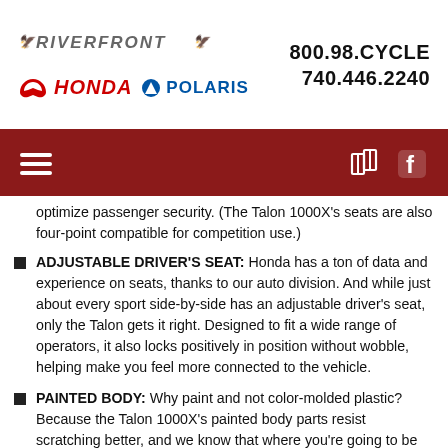RIVERFRONT HONDA POLARIS | 800.98.CYCLE | 740.446.2240
optimize passenger security. (The Talon 1000X's seats are also four-point compatible for competition use.)
ADJUSTABLE DRIVER'S SEAT: Honda has a ton of data and experience on seats, thanks to our auto division. And while just about every sport side-by-side has an adjustable driver's seat, only the Talon gets it right. Designed to fit a wide range of operators, it also locks positively in position without wobble, helping make you feel more connected to the vehicle.
PAINTED BODY: Why paint and not color-molded plastic? Because the Talon 1000X's painted body parts resist scratching better, and we know that where you're going to be driving this side-by-side, you won't want to slow down for a little brush by the side of the trail. Plus, they just look better—the first time you see